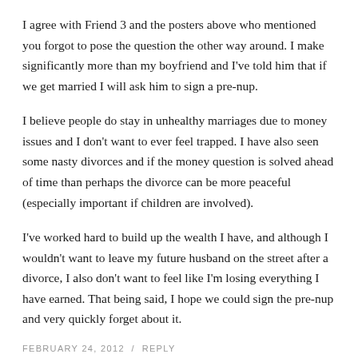I agree with Friend 3 and the posters above who mentioned you forgot to pose the question the other way around. I make significantly more than my boyfriend and I've told him that if we get married I will ask him to sign a pre-nup.
I believe people do stay in unhealthy marriages due to money issues and I don't want to ever feel trapped. I have also seen some nasty divorces and if the money question is solved ahead of time than perhaps the divorce can be more peaceful (especially important if children are involved).
I've worked hard to build up the wealth I have, and although I wouldn't want to leave my future husband on the street after a divorce, I also don't want to feel like I'm losing everything I have earned. That being said, I hope we could sign the pre-nup and very quickly forget about it.
FEBRUARY 24, 2012  /  REPLY